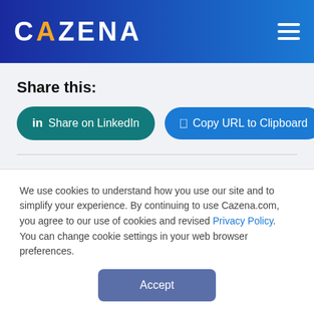[Figure (logo): Cazena logo with orange A on blue gradient header, with hamburger menu icon on the right]
Share this:
Share on LinkedIn | Copy URL to Clipboard
Related Resources
We use cookies to understand how you use our site and to simplify your experience. By continuing to use Cazena.com, you agree to our use of cookies and revised Privacy Policy. You can change cookie settings in your web browser preferences.
Accept